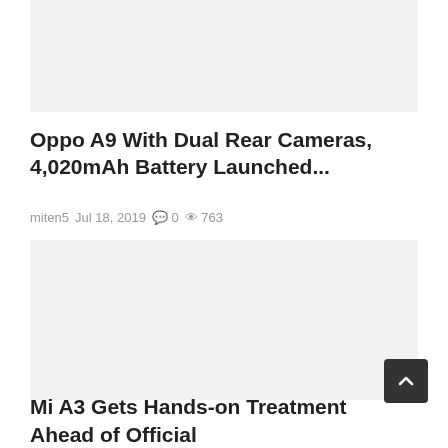[Figure (photo): Top article image placeholder, light gray background]
Oppo A9 With Dual Rear Cameras, 4,020mAh Battery Launched...
miten5   Jul 18, 2019   0   763
[Figure (photo): Main article image placeholder, light gray background]
Mi A3 Gets Hands-on Treatment Ahead of Official